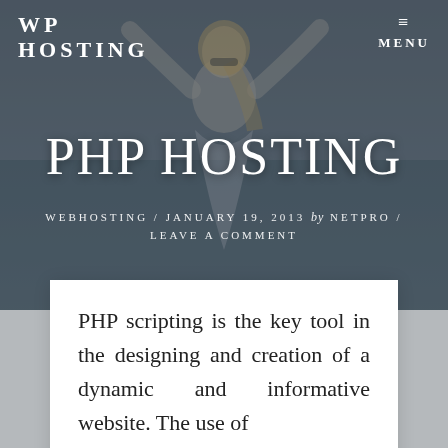WP HOSTING
MENU
PHP HOSTING
WEBHOSTING / JANUARY 19, 2013 by NETPRO / LEAVE A COMMENT
[Figure (photo): Woman with sunglasses outdoors near water, arms raised, hero background image for PHP Hosting blog post]
PHP scripting is the key tool in the designing and creation of a dynamic and informative website. The use of